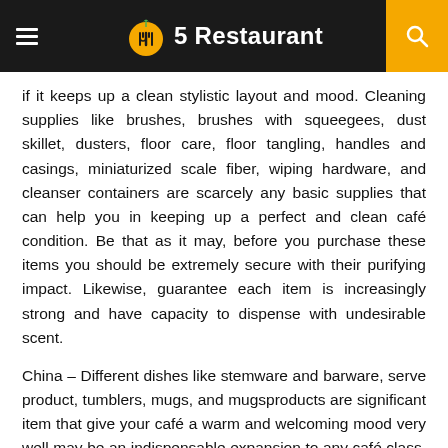5Restaurant
if it keeps up a clean stylistic layout and mood. Cleaning supplies like brushes, brushes with squeegees, dust skillet, dusters, floor care, floor tangling, handles and casings, miniaturized scale fiber, wiping hardware, and cleanser containers are scarcely any basic supplies that can help you in keeping up a perfect and clean café condition. Be that as it may, before you purchase these items you should be extremely secure with their purifying impact. Likewise, guarantee each item is increasingly strong and have capacity to dispense with undesirable scent.
China – Different dishes like stemware and barware, serve product, tumblers, mugs, and mugsproducts are significant item that give your café a warm and welcoming mood very well may be an indispensable expansion to any café class. So before you these things ensure they are anything